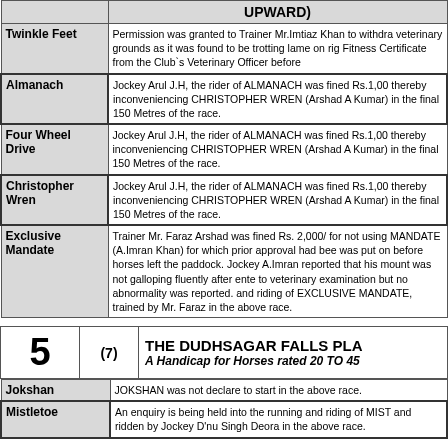| Horse | Note |
| --- | --- |
| Twinkle Feet | Permission was granted to Trainer Mr.Imtiaz Khan to withdraw on veterinary grounds as it was found to be trotting lame on rig. Fitness Certificate from the Club`s Veterinary Officer before... |
| Almanach | Jockey Arul J.H, the rider of ALMANACH was fined Rs.1,00... thereby inconveniencing CHRISTOPHER WREN (Arshad A... Kumar) in the final 150 Metres of the race. |
| Four Wheel Drive | Jockey Arul J.H, the rider of ALMANACH was fined Rs.1,00... thereby inconveniencing CHRISTOPHER WREN (Arshad A... Kumar) in the final 150 Metres of the race. |
| Christopher Wren | Jockey Arul J.H, the rider of ALMANACH was fined Rs.1,00... thereby inconveniencing CHRISTOPHER WREN (Arshad A... Kumar) in the final 150 Metres of the race. |
| Exclusive Mandate | Trainer Mr. Faraz Arshad was fined Rs. 2,000/ for not using MANDATE (A.Imran Khan) for which prior approval had bee... was put on before horses left the paddock. Jockey A.Imran reported that his mount was not galloping fluently after ente... to veterinary examination but no abnormality was reported. ... and riding of EXCLUSIVE MANDATE, trained by Mr. Faraz A... in the above race. |
| Race# | Entry | Title |
| --- | --- | --- |
| 5 | (7) | THE DUDHSAGAR FALLS PLA... A Handicap for Horses rated 20 TO 45 |
| Horse | Note |
| --- | --- |
| Jokshan | JOKSHAN was not declare to start in the above race. |
| Mistletoe | An enquiry is being held into the running and riding of MIST... and ridden by Jockey D'nu Singh Deora in the above race. |